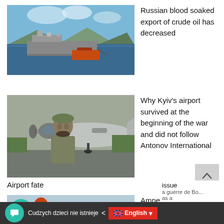[Figure (photo): Two ships at sea, one tanker vessel and a smaller vessel, with mountains in background]
Russian blood soaked export of crude oil has decreased
[Figure (photo): A soldier in camouflage uniform standing in front of a military propeller aircraft]
Why Kyiv's airport survived at the beginning of the war and did not follow Antonov International Airport fate
[Figure (photo): Partial image showing a news broadcast or press conference with INFOR logo visible and a woman with red hair]
Amnesty
Cudzych dzieci nie istnieje  <  English  a guerre de Bo... as a